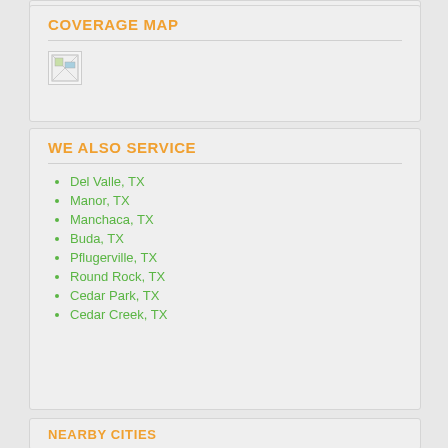COVERAGE MAP
[Figure (map): Coverage map image placeholder (broken image icon)]
WE ALSO SERVICE
Del Valle, TX
Manor, TX
Manchaca, TX
Buda, TX
Pflugerville, TX
Round Rock, TX
Cedar Park, TX
Cedar Creek, TX